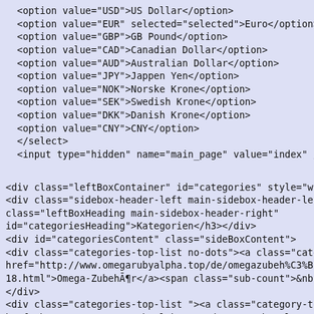<option value="USD">US Dollar</option>
  <option value="EUR" selected="selected">Euro</option>
  <option value="GBP">GB Pound</option>
  <option value="CAD">Canadian Dollar</option>
  <option value="AUD">Australian Dollar</option>
  <option value="JPY">Jappen Yen</option>
  <option value="NOK">Norske Krone</option>
  <option value="SEK">Swedish Krone</option>
  <option value="DKK">Danish Krone</option>
  <option value="CNY">CNY</option>
  </select>
  <input type="hidden" name="main_page" value="index" /></fo
<div class="leftBoxContainer" id="categories" style="width: 22
<div class="sidebox-header-left main-sidebox-header-left"><h3
class="leftBoxHeading main-sidebox-header-right"
id="categoriesHeading">Kategorien</h3></div>
<div id="categoriesContent" class="sideBoxContent">
<div class="categories-top-list no-dots"><a class="category-top
href="http://www.omegarubyalpha.top/de/omegazubeh%C3%B
18.html">Omega-ZubehÃ¶r</a><span class="sub-count">&nb
</div>
<div class="categories-top-list "><a class="category-top"
href="http://www.omegarubyalpha.top/de/omega-basel-c-99.h